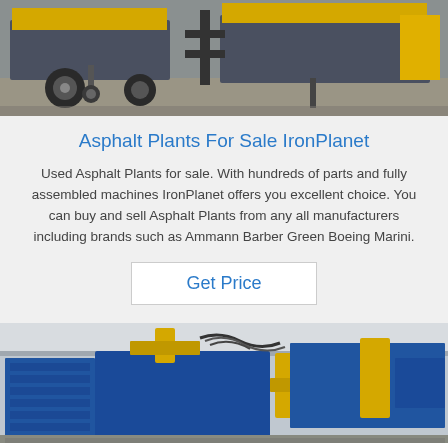[Figure (photo): Photograph of a yellow and grey mobile asphalt plant machine on a paved surface, showing wheels, structural frames, and machinery components.]
Asphalt Plants For Sale IronPlanet
Used Asphalt Plants for sale. With hundreds of parts and fully assembled machines IronPlanet offers you excellent choice. You can buy and sell Asphalt Plants from any all manufacturers including brands such as Ammann Barber Green Boeing Marini.
Get Price
[Figure (photo): Photograph of a large industrial blue and yellow block-making or pressing machine inside a factory/warehouse setting with hydraulic hoses and structural frames visible.]